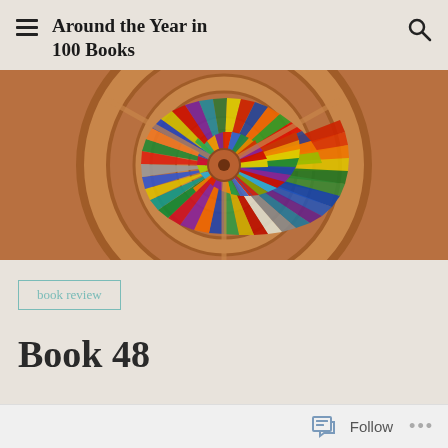Around the Year in 100 Books
[Figure (photo): Circular spiral bookshelf viewed from above, showing books arranged in concentric rings radiating outward from center, with colorful spines in red, green, blue, yellow and other colors, mounted in a wooden circular frame.]
book review
Book 48
Follow